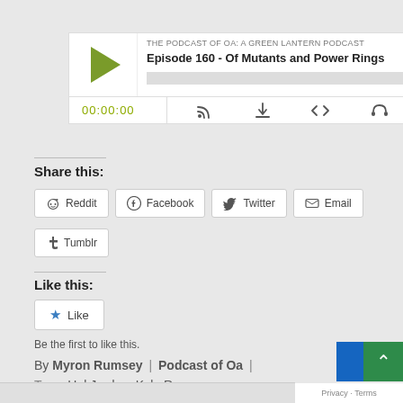[Figure (screenshot): Podcast player widget showing 'THE PODCAST OF OA: A GREEN LANTERN PODCAST' with episode title 'Episode 160 - Of Mutants and Power Rings', play button, time 00:00:00, and control icons for stream, download, embed, and headphone]
Share this:
Reddit  Facebook  Twitter  Email  Tumblr (share buttons)
Like this:
Like
Be the first to like this.
By Myron Rumsey | Podcast of Oa |
Tags: Hal Jordan, Kyle Rayner